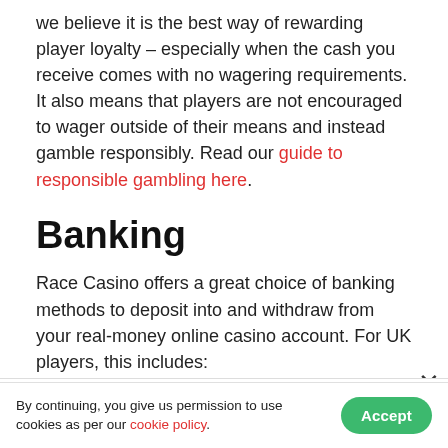we believe it is the best way of rewarding player loyalty – especially when the cash you receive comes with no wagering requirements. It also means that players are not encouraged to wager outside of their means and instead gamble responsibly. Read our guide to responsible gambling here.
Banking
Race Casino offers a great choice of banking methods to deposit into and withdraw from your real-money online casino account. For UK players, this includes:
| Payment | Min | Min | Fees |
| --- | --- | --- | --- |
By continuing, you give us permission to use cookies as per our cookie policy.